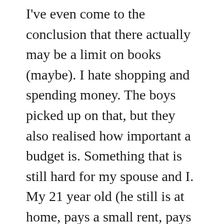I've even come to the conclusion that there actually may be a limit on books (maybe). I hate shopping and spending money. The boys picked up on that, but they also realised how important a budget is. Something that is still hard for my spouse and I. My 21 year old (he still is at home, pays a small rent, pays for insurance, and those groceries I will NOT buy-Pringles) sat at the table one night doing his monthly budget, yelling at Dave Ramsey. I just laughed and was grateful. However, he does need to think about buying new work jeans